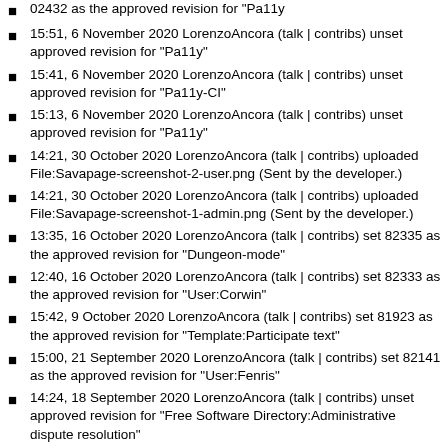02432 as the approved revision for "Pa11y"
15:51, 6 November 2020 LorenzoAncora (talk | contribs) unset approved revision for "Pa11y"
15:41, 6 November 2020 LorenzoAncora (talk | contribs) unset approved revision for "Pa11y-CI"
15:13, 6 November 2020 LorenzoAncora (talk | contribs) unset approved revision for "Pa11y"
14:21, 30 October 2020 LorenzoAncora (talk | contribs) uploaded File:Savapage-screenshot-2-user.png (Sent by the developer.)
14:21, 30 October 2020 LorenzoAncora (talk | contribs) uploaded File:Savapage-screenshot-1-admin.png (Sent by the developer.)
13:35, 16 October 2020 LorenzoAncora (talk | contribs) set 82335 as the approved revision for "Dungeon-mode"
12:40, 16 October 2020 LorenzoAncora (talk | contribs) set 82333 as the approved revision for "User:Corwin"
15:42, 9 October 2020 LorenzoAncora (talk | contribs) set 81923 as the approved revision for "Template:Participate text"
15:00, 21 September 2020 LorenzoAncora (talk | contribs) set 82141 as the approved revision for "User:Fenris"
14:24, 18 September 2020 LorenzoAncora (talk | contribs) unset approved revision for "Free Software Directory:Administrative dispute resolution"
13:48, 18 September 2020 LorenzoAncora (talk | contribs) unset approved revision for "Free Software...